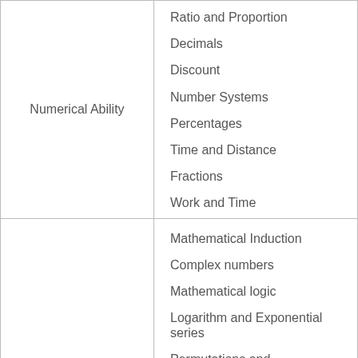| Category | Topics |
| --- | --- |
| Numerical Ability | Ratio and Proportion
Decimals
Discount
Number Systems
Percentages
Time and Distance
Fractions
Work and Time |
|  | Mathematical Induction
Complex numbers
Mathematical logic
Logarithm and Exponential series
Permutations and... |